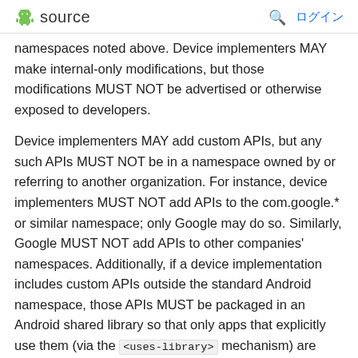source  ログイン
namespaces noted above. Device implementers MAY make internal-only modifications, but those modifications MUST NOT be advertised or otherwise exposed to developers.
Device implementers MAY add custom APIs, but any such APIs MUST NOT be in a namespace owned by or referring to another organization. For instance, device implementers MUST NOT add APIs to the com.google.* or similar namespace; only Google may do so. Similarly, Google MUST NOT add APIs to other companies' namespaces. Additionally, if a device implementation includes custom APIs outside the standard Android namespace, those APIs MUST be packaged in an Android shared library so that only apps that explicitly use them (via the <uses-library> mechanism) are affected by the increased memory usage of such APIs.